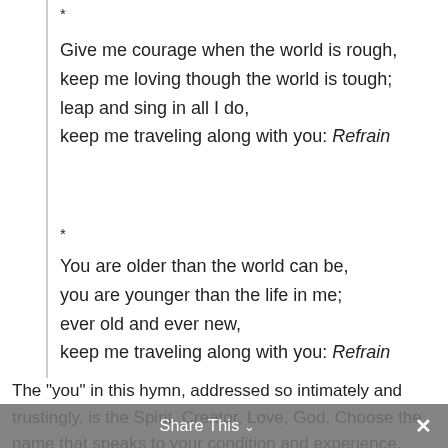*
Give me courage when the world is rough,
keep me loving though the world is tough;
leap and sing in all I do,
keep me traveling along with you: Refrain
*
You are older than the world can be,
you are younger than the life in me;
ever old and ever new,
keep me traveling along with you: Refrain
*
The "you" in this hymn, addressed so intimately and trustingly, is the Spirit, Creator, Love, God. Choose the name that speaks to your condition and experience.
Share This ×